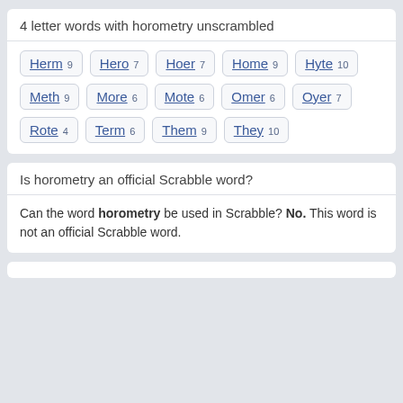4 letter words with horometry unscrambled
Herm 9
Hero 7
Hoer 7
Home 9
Hyte 10
Meth 9
More 6
Mote 6
Omer 6
Oyer 7
Rote 4
Term 6
Them 9
They 10
Is horometry an official Scrabble word?
Can the word horometry be used in Scrabble? No. This word is not an official Scrabble word.